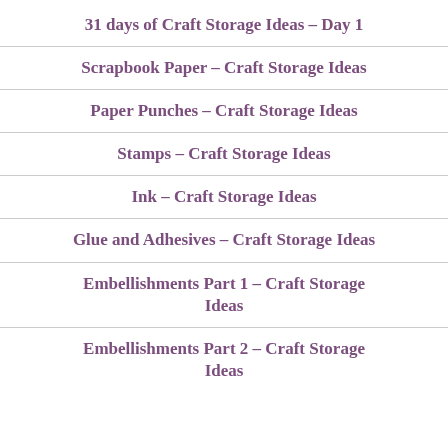31 days of Craft Storage Ideas – Day 1
Scrapbook Paper – Craft Storage Ideas
Paper Punches – Craft Storage Ideas
Stamps – Craft Storage Ideas
Ink – Craft Storage Ideas
Glue and Adhesives – Craft Storage Ideas
Embellishments Part 1 – Craft Storage Ideas
Embellishments Part 2 – Craft Storage Ideas